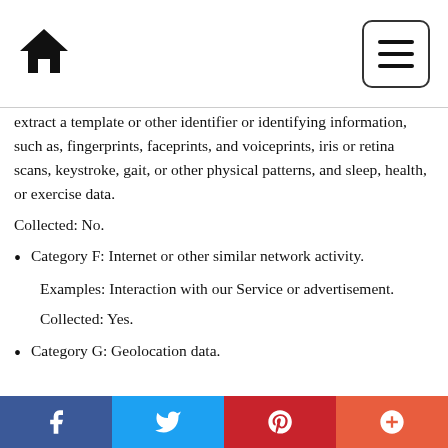Home | Menu
extract a template or other identifier or identifying information, such as, fingerprints, faceprints, and voiceprints, iris or retina scans, keystroke, gait, or other physical patterns, and sleep, health, or exercise data.
Collected: No.
Category F: Internet or other similar network activity.
Examples: Interaction with our Service or advertisement.
Collected: Yes.
Category G: Geolocation data.
Facebook | Twitter | Pinterest | Plus